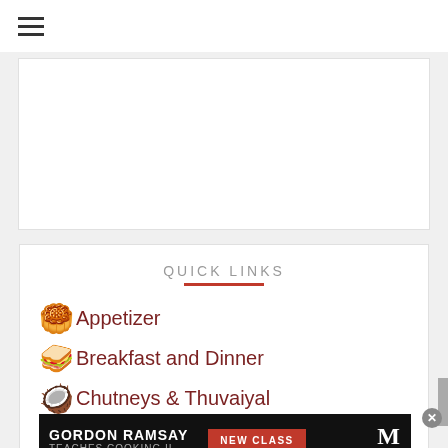≡ (hamburger menu)
[Figure (other): White rectangular ad placeholder box]
QUICK LINKS
Appetizer
Breakfast and Dinner
Chutneys & Thuvaiyal
[Figure (other): Gordon Ramsay Teaches Cooking II - MasterClass advertisement banner with NEW CLASS button]